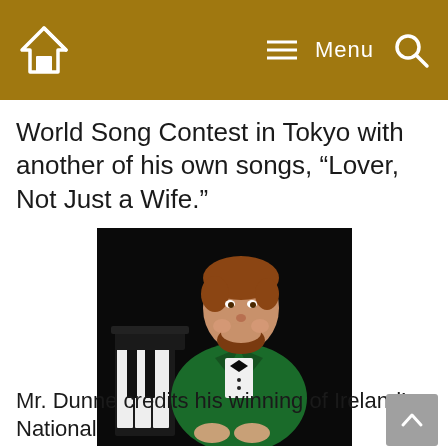Home | Menu | Search
World Song Contest in Tokyo with another of his own songs, “Lover, Not Just a Wife.”
[Figure (photo): A smiling man with a beard wearing a green tuxedo jacket and black bow tie, seated at a piano against a black background.]
Mr. Dunne credits his winning of Ireland’s National